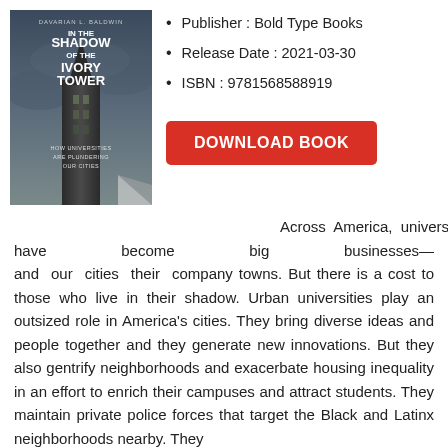[Figure (illustration): Book cover of 'In the Shadow of the Ivory Tower: How Universities Are Plundering Our Cities' by Davarian L. Baldwin. Dark moody cover with an image of a tall tower/cathedral and white text.]
Publisher : Bold Type Books
Release Date : 2021-03-30
ISBN : 9781568588919
DOWNLOAD BOOK
Across America, universities have become big businesses—and our cities their company towns. But there is a cost to those who live in their shadow. Urban universities play an outsized role in America's cities. They bring diverse ideas and people together and they generate new innovations. But they also gentrify neighborhoods and exacerbate housing inequality in an effort to enrich their campuses and attract students. They maintain private police forces that target the Black and Latinx neighborhoods nearby. They